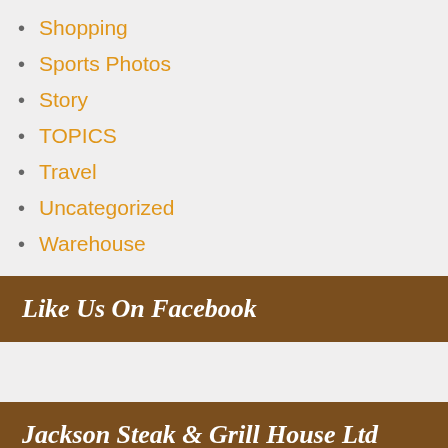Shopping
Sports Photos
Story
TOPICS
Travel
Uncategorized
Warehouse
Like Us On Facebook
Jackson Steak & Grill House Ltd
[Figure (photo): Small image placeholder with broken image icon]